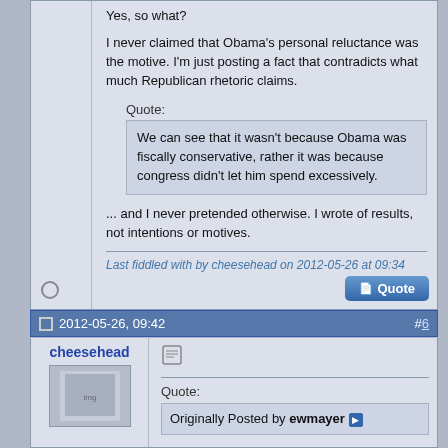Yes, so what?
I never claimed that Obama's personal reluctance was the motive. I'm just posting a fact that contradicts what much Republican rhetoric claims.
Quote:
We can see that it wasn't because Obama was fiscally conservative, rather it was because congress didn't let him spend excessively.
... and I never pretended otherwise. I wrote of results, not intentions or motives.
Last fiddled with by cheesehead on 2012-05-26 at 09:34
2012-05-26, 09:42
#6
cheesehead
Quote:
Originally Posted by ewmayer